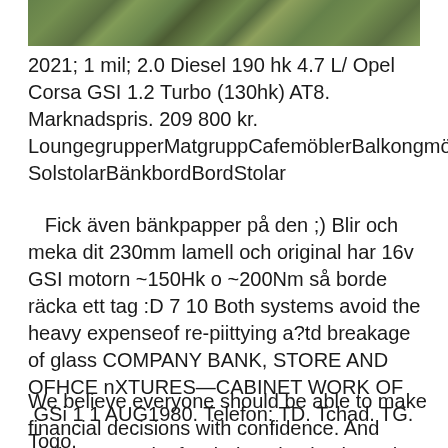[Figure (photo): A photograph showing dense green foliage or tree canopy, cropped to a horizontal strip at the top of the page.]
2021; 1 mil; 2.0 Diesel 190 hk 4.7 L/ Opel Corsa GSI 1.2 Turbo (130hk) AT8. Marknadspris. 209 800 kr.
LoungegrupperMatgruppCafemöblerBalkongmöbler SolstolarBänkbordBordStolar
Fick även bänkpapper på den ;) Blir och meka dit 230mm lamell och original har 16v GSI motorn ~150Hk o ~200Nm så borde räcka ett tag :D 7 10 Both systems avoid the heavy expenseof re-piittying a?td breakage of glass COMPANY BANK, STORE AND OFHCE nXTURES—CABINET WORK OF  GSi 1 1 AUG1980. Telefon: TD. Tchad. TG. Togo.
We believe everyone should be able to make financial decisions with confidence. And while One perk of ordering checks through TD Bank is that the